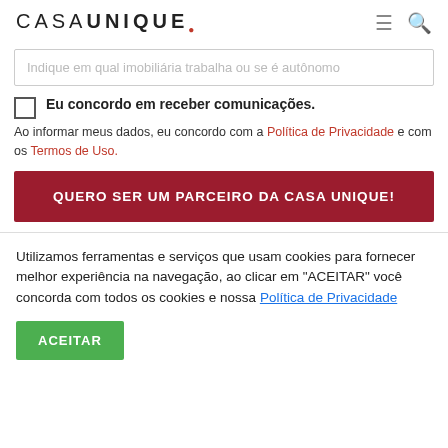CASA UNIQUE
Indique em qual imobiliária trabalha ou se é autônomo
Eu concordo em receber comunicações.
Ao informar meus dados, eu concordo com a Política de Privacidade e com os Termos de Uso.
QUERO SER UM PARCEIRO DA CASA UNIQUE!
Utilizamos ferramentas e serviços que usam cookies para fornecer melhor experiência na navegação, ao clicar em "ACEITAR" você concorda com todos os cookies e nossa Política de Privacidade
ACEITAR